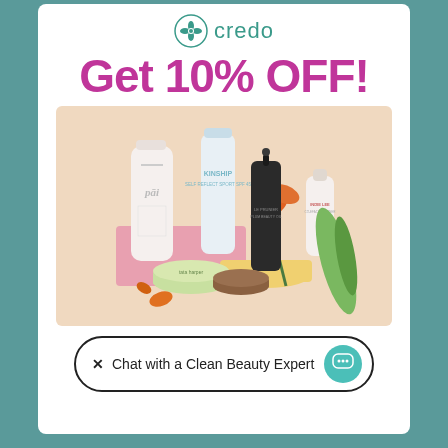[Figure (logo): Credo beauty brand logo with flower icon and teal text]
Get 10% OFF!
[Figure (photo): Arrangement of clean beauty products including Pai, Kinship, Dr. Preira, and Indie Lee skincare bottles on pink and yellow pedestals with aloe vera and orange flowers]
× Chat with a Clean Beauty Expert